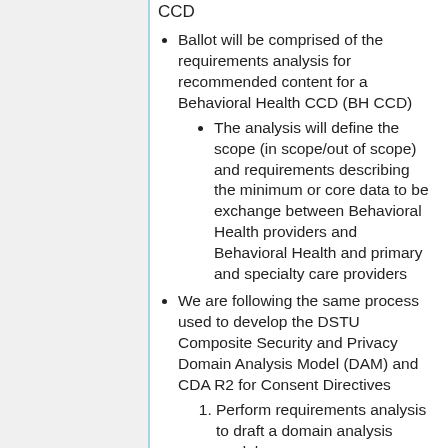CCD
Ballot will be comprised of the requirements analysis for recommended content for a Behavioral Health CCD (BH CCD)
The analysis will define the scope (in scope/out of scope) and requirements describing the minimum or core data to be exchange between Behavioral Health providers and Behavioral Health and primary and specialty care providers
We are following the same process used to develop the DSTU Composite Security and Privacy Domain Analysis Model (DAM) and CDA R2 for Consent Directives
Perform requirements analysis to draft a domain analysis model -